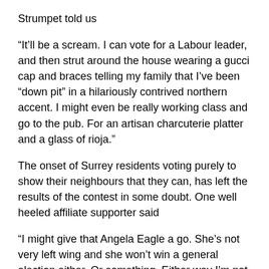Strumpet told us
“It’ll be a scream. I can vote for a Labour leader, and then strut around the house wearing a gucci cap and braces telling my family that I’ve been “down pit” in a hilariously contrived northern accent. I might even be really working class and go to the pub. For an artisan charcuterie platter and a glass of rioja.”
The onset of Surrey residents voting purely to show their neighbours that they can, has left the results of the contest in some doubt. One well heeled affiliate supporter said
“I might give that Angela Eagle a go. She’s not very left wing and she won’t win a general election either. Or something. Either way I’m not going to pass up a status symbol like being able to afford to vote for Labour’s leader. However the £25 paid...